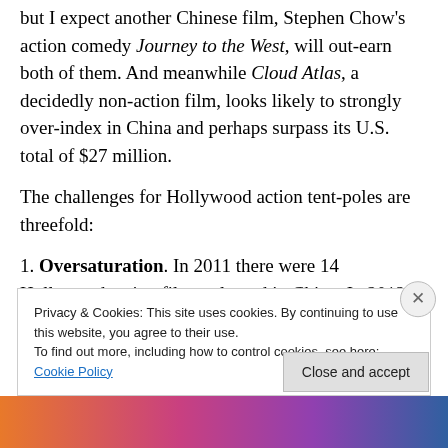but I expect another Chinese film, Stephen Chow's action comedy Journey to the West, will out-earn both of them. And meanwhile Cloud Atlas, a decidedly non-action film, looks likely to strongly over-index in China and perhaps surpass its U.S. total of $27 million.
The challenges for Hollywood action tent-poles are threefold:
1. Oversaturation. In 2011 there were 14 Hollywood action films released in China. In 2012 there were 23. Audiences may simply be tiring of these movies, with the
Privacy & Cookies: This site uses cookies. By continuing to use this website, you agree to their use.
To find out more, including how to control cookies, see here: Cookie Policy
Close and accept